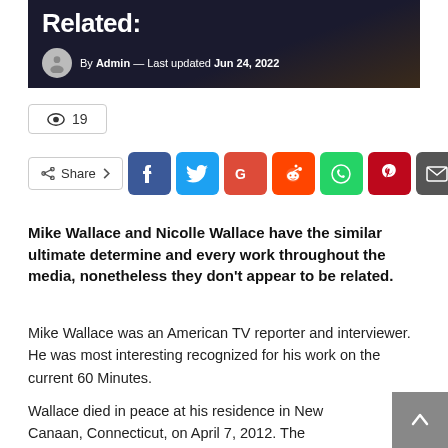[Figure (photo): Dark background image showing partial text 'Related:' with a person's hand visible, plus author byline: By Admin — Last updated Jun 24, 2022]
19 (views)
Share (Facebook, Twitter, Google+, Reddit, WhatsApp, Pinterest, Email)
Mike Wallace and Nicolle Wallace have the similar ultimate determine and every work throughout the media, nonetheless they don't appear to be related.
Mike Wallace was an American TV reporter and interviewer. He was most interesting recognized for his work on the current 60 Minutes.
Wallace died in peace at his residence in New Canaan, Connecticut, on April 7, 2012. The subsequent evening time,